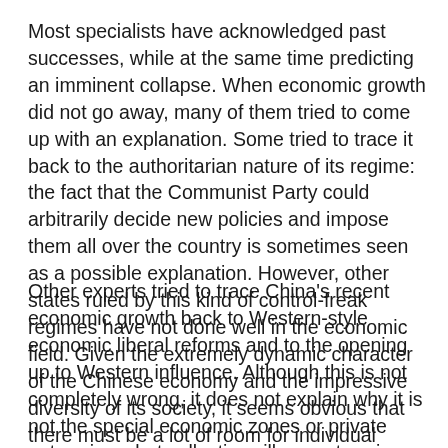Most specialists have acknowledged past successes, while at the same time predicting an imminent collapse. When economic growth did not go away, many of them tried to come up with an explanation. Some tried to trace it back to the authoritarian nature of its regime: the fact that the Communist Party could arbitrarily decide new policies and impose them all over the country is sometimes seen as a possible explanation. However, other states ruled by this kind of control-freak regimes have not done well in the economic field. Given the extremely dynamic character of the Chinese economy and the impressive diversity of its society, it seems obvious that there must be a lot of room for individual initiative.
Other experts tried to trace China's recent economic growth back to Western-style economic liberal reforms and to the opening up to Western influence. Although this is not completely wrong, it does not explain why it is not the special economic zones or private enterprises, but collective village enterprises in the countryside which have contributed most to GDP growth in the 1980s and unlike those, experiencing